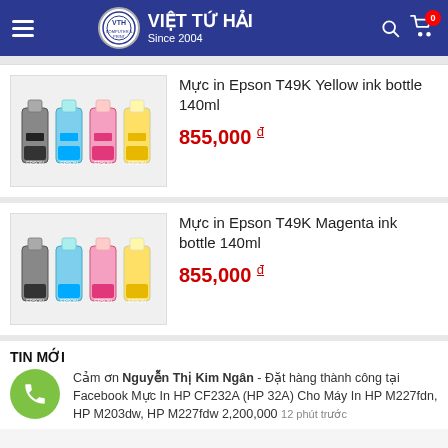VIỆT TỨ HẢI Since 2004
Mực in Epson T49K Yellow ink bottle 140ml
855,000 đ
Mực in Epson T49K Magenta ink bottle 140ml
855,000 đ
TIN MỚI
Cảm ơn Nguyễn Thị Kim Ngân - Đặt hàng thành công tại Facebook Mực In HP CF232A (HP 32A) Cho Máy In HP M227fdn, HP M203dw, HP M227fdw 2,200,000  12 phút trước